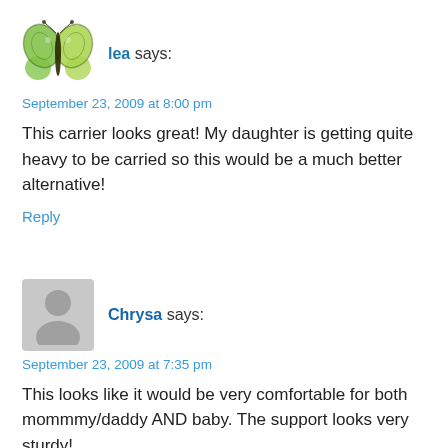[Figure (illustration): Green butterfly avatar/icon for user lea]
lea says:
September 23, 2009 at 8:00 pm
This carrier looks great! My daughter is getting quite heavy to be carried so this would be a much better alternative!
Reply
[Figure (illustration): Generic grey avatar/silhouette icon for user Chrysa]
Chrysa says:
September 23, 2009 at 7:35 pm
This looks like it would be very comfortable for both mommmy/daddy AND baby. The support looks very sturdy!